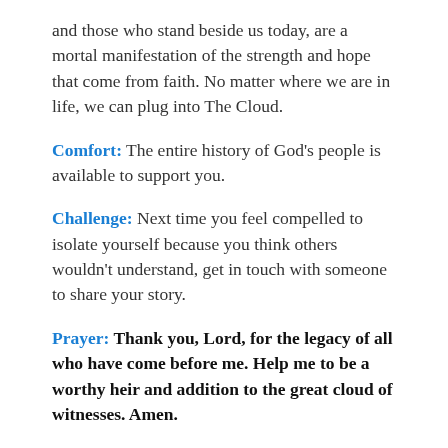and those who stand beside us today, are a mortal manifestation of the strength and hope that come from faith. No matter where we are in life, we can plug into The Cloud.
Comfort: The entire history of God’s people is available to support you.
Challenge: Next time you feel compelled to isolate yourself because you think others wouldn’t understand, get in touch with someone to share your story.
Prayer: Thank you, Lord, for the legacy of all who have come before me. Help me to be a worthy heir and addition to the great cloud of witnesses. Amen.
Discussion: ...times of difficult...are more likely to...